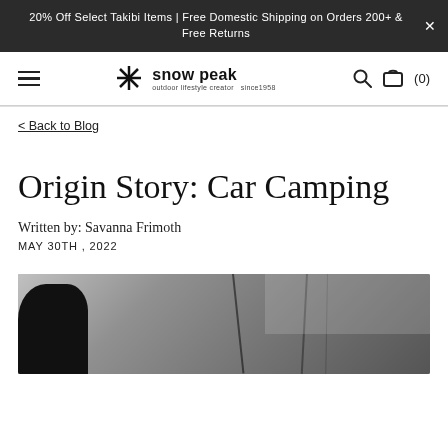20% Off Select Takibi Items | Free Domestic Shipping on Orders 200+ & Free Returns
[Figure (logo): Snow Peak logo with asterisk star and text 'snow peak outdoor lifestyle creator since1958']
< Back to Blog
Origin Story: Car Camping
Written by: Savanna Frimoth
MAY 30TH , 2022
[Figure (photo): Black and white photo of a vehicle (car roof/trunk area) against a cloudy sky, partially visible]